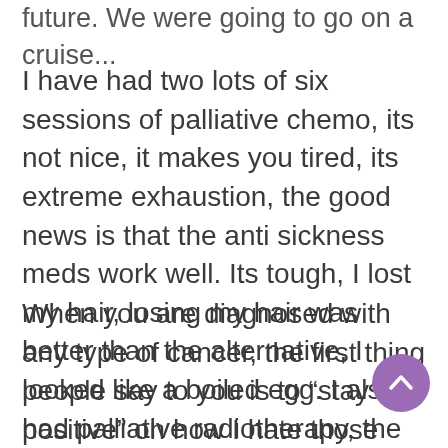future. We were going to go on a cruise...
I have had two lots of six sessions of palliative chemo, its not nice, it makes you tired, its extreme exhaustion, the good news is that the anti sickness meds work well. Its tough, I lost my hair, losing my hair was better than the alternative, I looked like a boiled egg. I also had palliative radiotherapy, the journey to the hospital was longer that the radiotherapy session itself.
When you are diagnosed with any type of cancer, the first thing people say to you is to “stay positive” oh how I hate those words, even though I know that a positive mental attitude has been shown that it helps to boost your